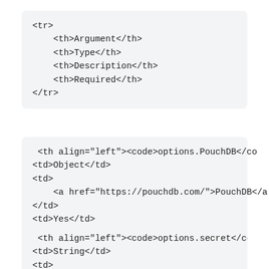<tr>
    <th>Argument</th>
    <th>Type</th>
    <th>Description</th>
    <th>Required</th>
</tr>
<th align="left"><code>options.PouchDB</code>
<td>Object</td>
<td>
    <a href="https://pouchdb.com/">PouchDB</a
</td>
<td>Yes</td>
<th align="left"><code>options.secret</code>
<td>String</td>
<td>